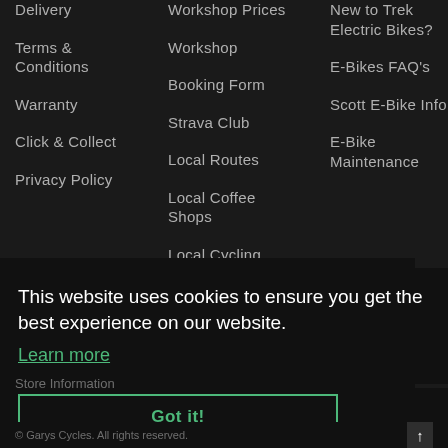Delivery
Terms & Conditions
Warranty
Click & Collect
Privacy Policy
Workshop Prices
Workshop
Booking Form
Strava Club
Local Routes
Local Coffee Shops
Local Cycling Clubs
New to Trek Electric Bikes?
E-Bikes FAQ's
Scott E-Bike Info
E-Bike Maintenance
About Us
This website uses cookies to ensure you get the best experience on our website.
Learn more
Got it!
© Garys Cycles. All rights reserved.